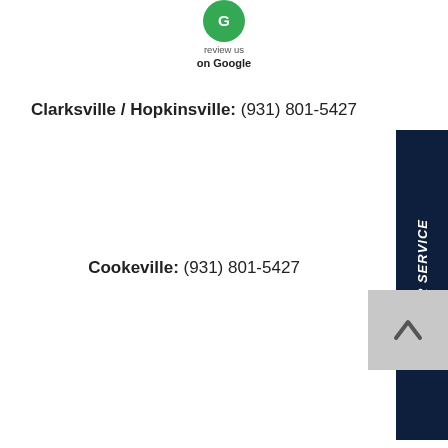[Figure (logo): Google review badge with green circle icon, 'review us on Google' text]
Clarksville / Hopkinsville: (931) 801-5427
Cookeville: (931) 801-5427
24 HOUR SERVICE
[Figure (other): Back to top arrow button, light gray background with upward chevron]